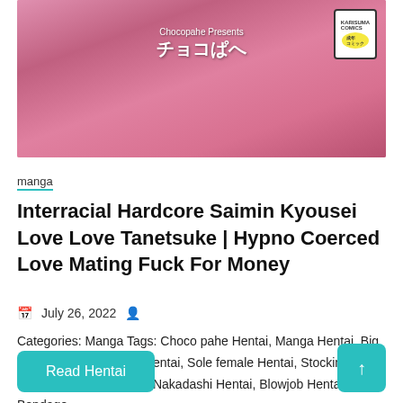[Figure (illustration): Manga/anime style cover image with pink tones showing 'Chocopahe Presents チョコぱへ' with a Karisuma Comics badge]
manga
Interracial Hardcore Saimin Kyousei Love Love Tanetsuke | Hypno Coerced Love Mating Fuck For Money
July 26, 2022
Categories: Manga Tags: Choco pahe Hentai, Manga Hentai, Big breasts Hentai, Group Hentai, Sole female Hentai, Stockings Hentai, Glasses Hentai, Nakadashi Hentai, Blowjob Hentai, Bondage